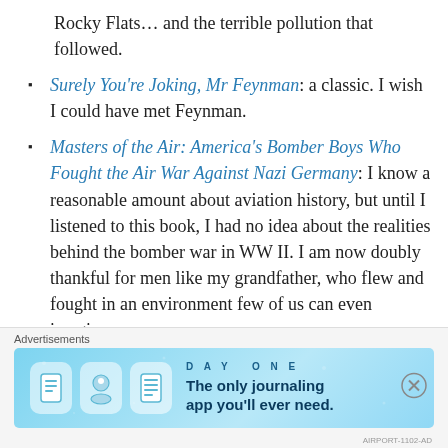Rocky Flats… and the terrible pollution that followed.
Surely You're Joking, Mr Feynman: a classic. I wish I could have met Feynman.
Masters of the Air: America's Bomber Boys Who Fought the Air War Against Nazi Germany: I know a reasonable amount about aviation history, but until I listened to this book, I had no idea about the realities behind the bomber war in WW II. I am now doubly thankful for men like my grandfather, who flew and fought in an environment few of us can even imagine.
Thinking Pilots' Flight Manual: interesting and useful collection of magazine columns. Some of the material's not relevant to me (I won't be landing ski-equipped
[Figure (infographic): Day One app advertisement banner with blue background. Shows 'DAY ONE' text with journaling app icons and tagline 'The only journaling app you'll ever need.']